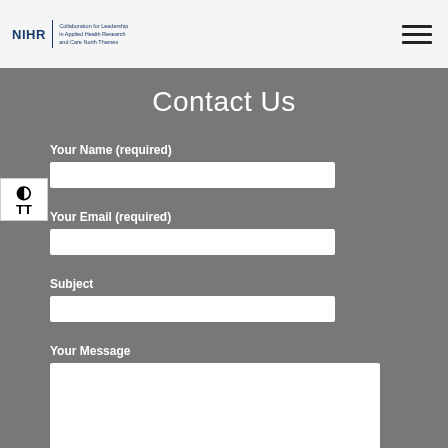[Figure (logo): NIHR Collaboration for Leadership in Applied Health Research and Care North Thames logo]
Contact Us
Your Name (required)
Your Email (required)
Subject
Your Message